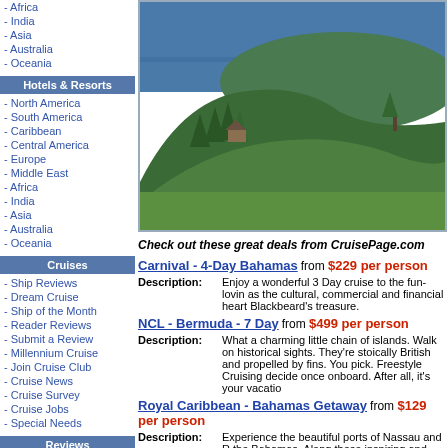- Africa
- India
- Asia
- Australia
- Oceania
Hotels & Resorts
- North America
- South America
- Caribbean
- Central America
- Europe
- Middle East
- Africa
- India
- Asia
- Australia
- Oceania
Cruises
- Ship Reviews
- Dream Cruise
- Ship of the Month
- Reader Reviews
- Submit a Review
- Millennium Cruise
- Join Cruise Club
- Cruise News
- Cruise Survey
- Cruise Jobs
- Special Needs
[Figure (photo): Scenic photo of green hillside with trees and a small cabin, with a blue lake or fjord in the background.]
Check out these great deals from CruisePage.com
Carnival - 4-Day Bahamas from $229 per person
Description: Enjoy a wonderful 3 Day cruise to the fun-loving as the cultural, commercial and financial heart Blackbeard's treasure.
NCL - Bermuda - 7 Day from $499 per person
Description: What a charming little chain of islands. Walk on historical sights. They're stoically British and propelled by fins. You pick. Freestyle Cruising decide once onboard. After all, it's your vacation
Royal Caribbean - Bahamas Getaway from $129 per person
Description: Experience the beautiful ports of Nassau and the Bahamas. Along these inspiring wildlife